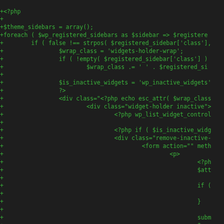[Figure (screenshot): A code diff screenshot showing PHP and HTML code with green '+' markers on a dark background, representing additions to a file involving WordPress sidebar/widget code.]